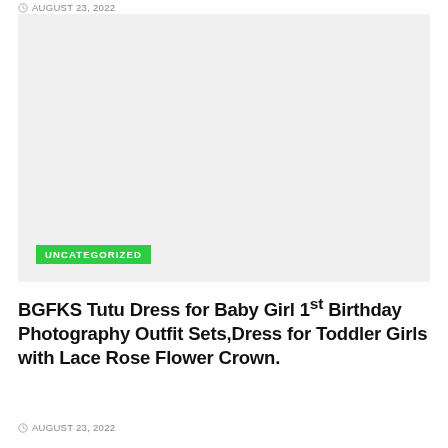AUGUST 23, 2022
[Figure (photo): Large image placeholder with light gray background representing a product photo area]
UNCATEGORIZED
BGFKS Tutu Dress for Baby Girl 1st Birthday Photography Outfit Sets,Dress for Toddler Girls with Lace Rose Flower Crown.
AUGUST 23, 2022